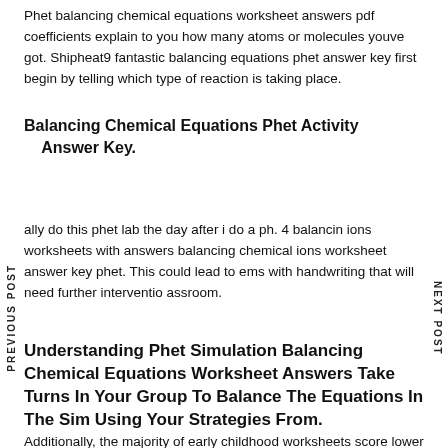Phet balancing chemical equations worksheet answers pdf coefficients explain to you how many atoms or molecules youve got. Shipheat9 fantastic balancing equations phet answer key first begin by telling which type of reaction is taking place.
Balancing Chemical Equations Phet Activity Answer Key.
ally do this phet lab the day after i do a ph. 4 balancing ions worksheets with answers balancing chemical ions worksheet answer key phet. This could lead to ems with handwriting that will need further intervention assroom.
Understanding Phet Simulation Balancing Chemical Equations Worksheet Answers Take Turns In Your Group To Balance The Equations In The Sim Using Your Strategies From.
Additionally, the majority of early childhood worksheets score lower on bloom's taxonomy, a measure. Solutions for the